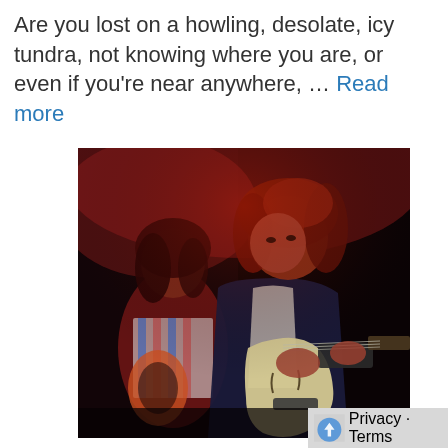Are you lost on a howling, desolate, icy tundra, not knowing where you are, or even if you're near anywhere, ... Read more
[Figure (photo): Two musicians playing guitars on a darkened stage lit with red lighting. The foreground performer is a woman with curly reddish hair wearing a dark blazer, playing a light-colored hollow-body electric guitar. Behind her is a male guitarist with long dark hair wearing a striped shirt, playing an orange hollow-body guitar.]
Privacy · Terms